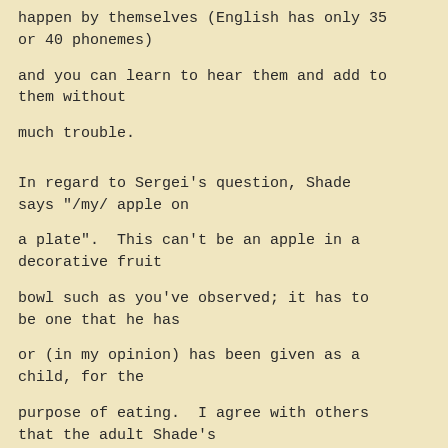happen by themselves (English has only 35 or 40 phonemes)
and you can learn to hear them and add to them without
much trouble.
In regard to Sergei's question, Shade says "/my/ apple on
a plate".  This can't be an apple in a decorative fruit
bowl such as you've observed; it has to be one that he has
or (in my opinion) has been given as a child, for the
purpose of eating.  I agree with others that the adult Shade's
difficulty in starting an apple seems to be relevant here